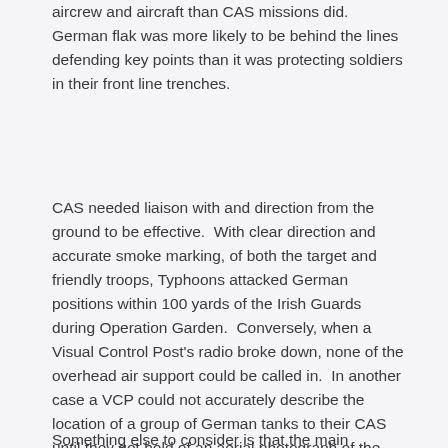aircrew and aircraft than CAS missions did.  German flak was more likely to be behind the lines defending key points than it was protecting soldiers in their front line trenches.
CAS needed liaison with and direction from the ground to be effective.  With clear direction and accurate smoke marking, of both the target and friendly troops, Typhoons attacked German positions within 100 yards of the Irish Guards during Operation Garden.  Conversely, when a Visual Control Post's radio broke down, none of the overhead air support could be called in.  In another case a VCP could not accurately describe the location of a group of German tanks to their CAS until they got hold of an aerial photograph of the area, even though the Germans were just 250 yards from the VCP.
Something else to consider is that the main